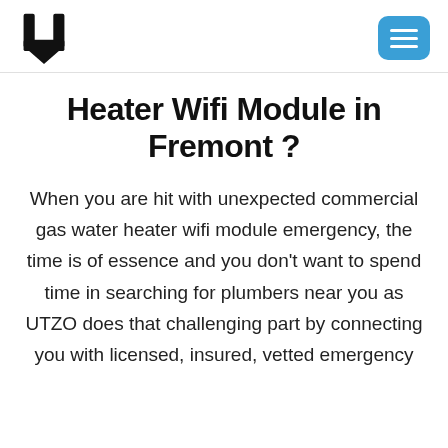UTZO logo and navigation menu
Heater Wifi Module in Fremont ?
When you are hit with unexpected commercial gas water heater wifi module emergency, the time is of essence and you don't want to spend time in searching for plumbers near you as UTZO does that challenging part by connecting you with licensed, insured, vetted emergency